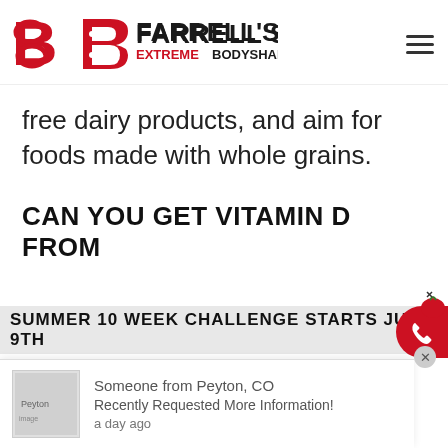[Figure (logo): Farrell's Extreme Bodyshaping logo with red stylized B icon and black/red text]
free dairy products, and aim for foods made with whole grains.
CAN YOU GET VITAMIN D FROM
SUMMER 10 WEEK CHALLENGE STARTS JULY 9TH
Someone from Peyton, CO
Recently Requested More Information!
a day ago